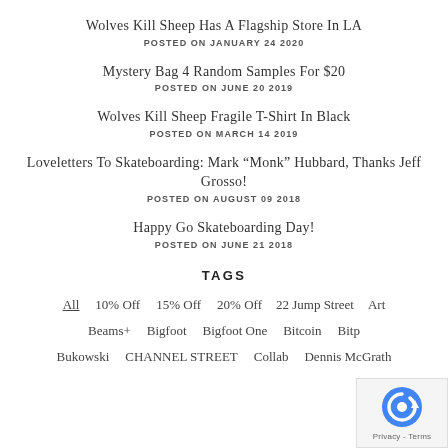Wolves Kill Sheep Has A Flagship Store In LA
POSTED ON JANUARY 24 2020
Mystery Bag 4 Random Samples For $20
POSTED ON JUNE 20 2019
Wolves Kill Sheep Fragile T-Shirt In Black
POSTED ON MARCH 14 2019
Loveletters To Skateboarding: Mark "Monk" Hubbard, Thanks Jeff Grosso!
POSTED ON AUGUST 09 2018
Happy Go Skateboarding Day!
POSTED ON JUNE 21 2018
TAGS
All  10% Off  15% Off  20% Off  22 Jump Street  Art  Beams+  Bigfoot  Bigfoot One  Bitcoin  Bitp…  Bukowski  CHANNEL STREET  Collab  Dennis McGrath